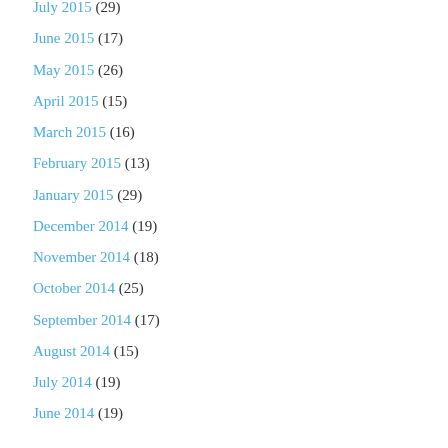July 2015 (29)
June 2015 (17)
May 2015 (26)
April 2015 (15)
March 2015 (16)
February 2015 (13)
January 2015 (29)
December 2014 (19)
November 2014 (18)
October 2014 (25)
September 2014 (17)
August 2014 (15)
July 2014 (19)
June 2014 (19)